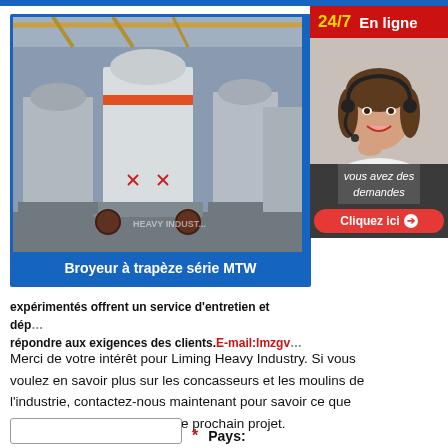[Figure (photo): Industrial factory floor with large MTW trapezoid mill grinding machines in a row, white cylindrical mills with orange stripe]
Broyeur à trapèze série MTW
[Figure (photo): Customer service agent - young woman with headset smiling, with '24/7 En ligne' header in red and 'vous avez des demandes / Cliquez ici' button]
expérimentés offrent un service d'entretien et dép... répondre aux exigences des clients. E-mail:lmzgv...
Merci de votre intérêt pour Liming Heavy Industry. Si vous voulez en savoir plus sur les concasseurs et les moulins de l'industrie, contactez-nous maintenant pour savoir ce que nous pouvons faire pour votre prochain projet.